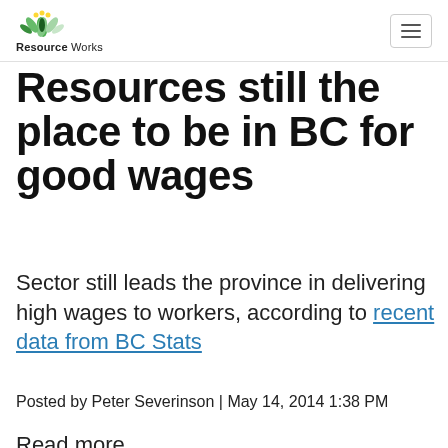Resource Works
Resources still the place to be in BC for good wages
Sector still leads the province in delivering high wages to workers, according to recent data from BC Stats
Posted by Peter Severinson | May 14, 2014 1:38 PM
Read more